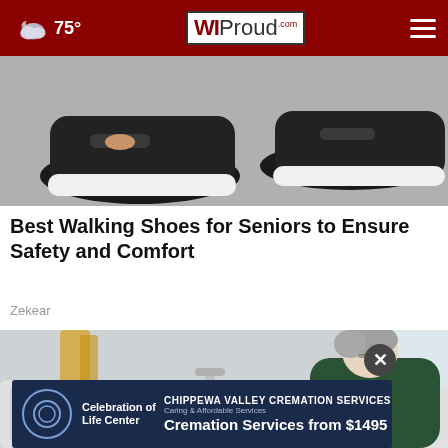75° WIProud.com
[Figure (photo): Close-up photo of black athletic walking shoes on a light grey surface, showing the sole and side of a shoe being worn]
Best Walking Shoes for Seniors to Ensure Safety and Comfort
Zekear
[Figure (photo): Elderly woman in a dark green jacket leaning over a bathroom sink with chrome fixtures, yellow accessories visible in background]
[Figure (infographic): Advertisement banner: Celebration of Life Center - CHIPPEWA VALLEY CREMATION SERVICES - Caring & Affordable Services - Cremation Services from $1495]